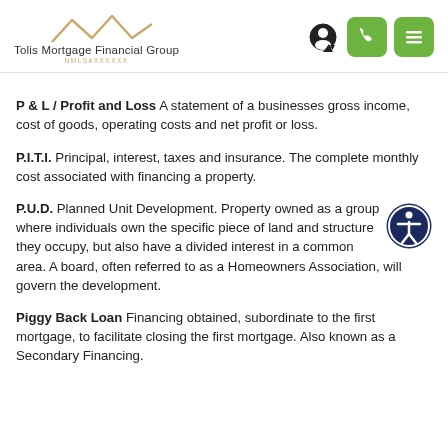[Figure (logo): Tolis Mortgage Financial Group logo with roof/house outline icon above the company name]
P & L / Profit and Loss A statement of a businesses gross income, cost of goods, operating costs and net profit or loss.
P.I.T.I. Principal, interest, taxes and insurance. The complete monthly cost associated with financing a property.
P.U.D. Planned Unit Development. Property owned as a group where individuals own the specific piece of land and structure they occupy, but also have a divided interest in a common area. A board, often referred to as a Homeowners Association, will govern the development.
Piggy Back Loan Financing obtained, subordinate to the first mortgage, to facilitate closing the first mortgage. Also known as a Secondary Financing.